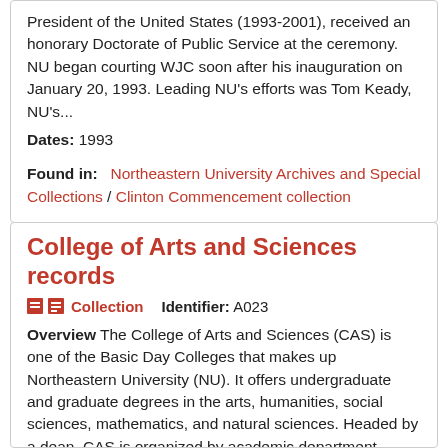President of the United States (1993-2001), received an honorary Doctorate of Public Service at the ceremony. NU began courting WJC soon after his inauguration on January 20, 1993. Leading NU's efforts was Tom Keady, NU's...
Dates: 1993
Found in: Northeastern University Archives and Special Collections / Clinton Commencement collection
College of Arts and Sciences records
Collection  Identifier: A023
Overview The College of Arts and Sciences (CAS) is one of the Basic Day Colleges that makes up Northeastern University (NU). It offers undergraduate and graduate degrees in the arts, humanities, social sciences, mathematics, and natural sciences. Headed by a dean, CAS is organized by academic department, interdisciplinary program, or center for specialized study. The dean has responsibility for managing educational policy, faculty issues, student